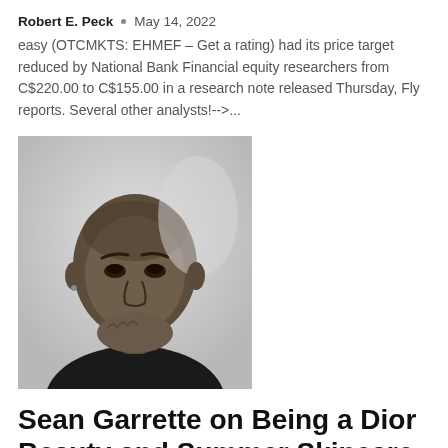Robert E. Peck • May 14, 2022
easy (OTCMKTS: EHMEF – Get a rating) had its price target reduced by National Bank Financial equity researchers from C$220.00 to C$155.00 in a research note released Thursday, Fly reports. Several other analysts!-->...
[Figure (photo): Black and white portrait photo of a young Black man resting his chin on his hand, looking upward, wearing a dark shirt, with a light background.]
Sean Garrette on Being a Dior Beauty and Summer Skincare Ambassador
Robert E. Peck • May 13, 2022